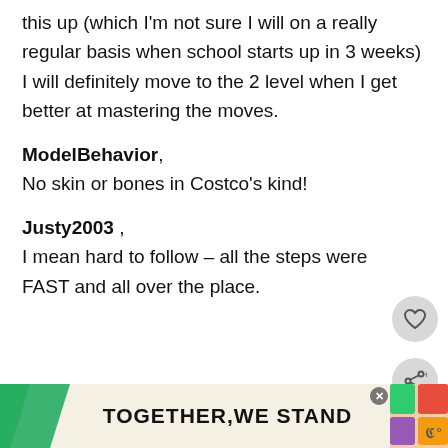this up (which I'm not sure I will on a really regular basis when school starts up in 3 weeks) I will definitely move to the 2 level when I get better at mastering the moves.
ModelBehavior,
No skin or bones in Costco's kind!
Justy2003 ,
I mean hard to follow – all the steps were FAST and all over the place.
lauren
I had to take almost 3 years off of high
[Figure (screenshot): TOGETHER WE STAND advertisement banner at bottom of page with colorful shapes and a close button]
[Figure (screenshot): WHAT'S NEXT panel showing 'Spice Up Your Marriage wit...' with thumbnail image]